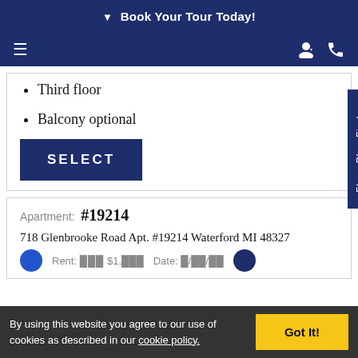▾ Book Your Tour Today!
Third floor
Balcony optional
SELECT
Floor Plan Finder
Apartment: #19214
718 Glenbrooke Road Apt. #19214 Waterford MI 48327
Rent: Date:
By using this website you agree to our use of cookies as described in our cookie policy.
Got It!